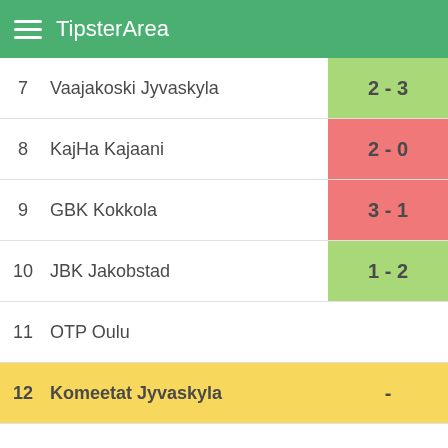TipsterArea
7  Vaajakoski Jyvaskyla  2 - 3
8  KajHa Kajaani  2 - 0
9  GBK Kokkola  3 - 1
10  JBK Jakobstad  1 - 2
11  OTP Oulu
12  Komeetat Jyvaskyla  -
Statistics for Last Played Matches
|  |  |  |
| --- | --- | --- |
| Matches | 9 |  |
| Wins | 2 | 22% |